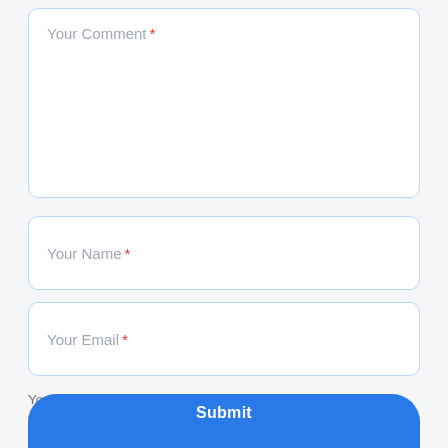[Figure (screenshot): A web comment form with three input fields: 'Your Comment' (large textarea), 'Your Name' (text input), 'Your Email' (text input), a note about required fields, and a Submit button at the bottom.]
Your Comment *
Your Name *
Your Email *
Your email will not be published. Required fields are marked *